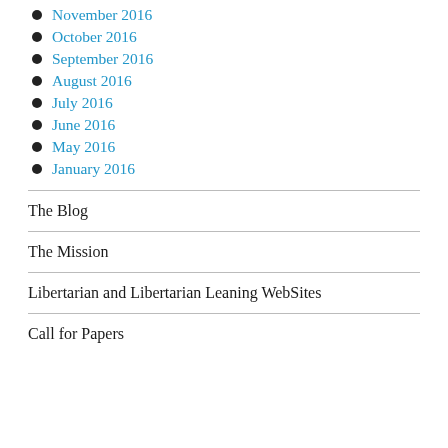November 2016
October 2016
September 2016
August 2016
July 2016
June 2016
May 2016
January 2016
The Blog
The Mission
Libertarian and Libertarian Leaning WebSites
Call for Papers